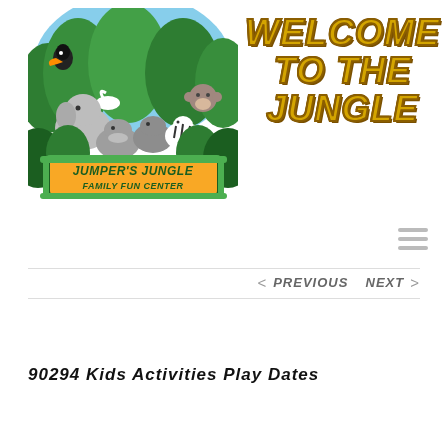[Figure (logo): Jumper's Jungle Family Fun Center logo with cartoon jungle animals (elephant, hippopotamus, zebra, monkey, toucan, swan) in a jungle setting with a green gate sign reading JUMPER'S JUNGLE FAMILY FUN CENTER]
WELCOME TO THE JUNGLE
[Figure (other): Hamburger menu icon with three horizontal lines]
< PREVIOUS   NEXT >
90294 Kids Activities Play Dates